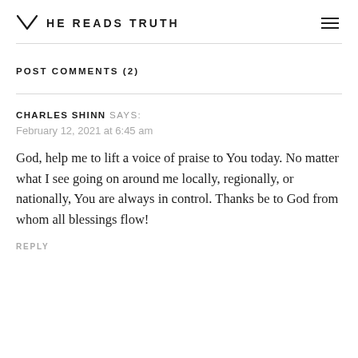HE READS TRUTH
POST COMMENTS (2)
CHARLES SHINN SAYS:
February 12, 2021 at 6:45 am
God, help me to lift a voice of praise to You today. No matter what I see going on around me locally, regionally, or nationally, You are always in control. Thanks be to God from whom all blessings flow!
REPLY